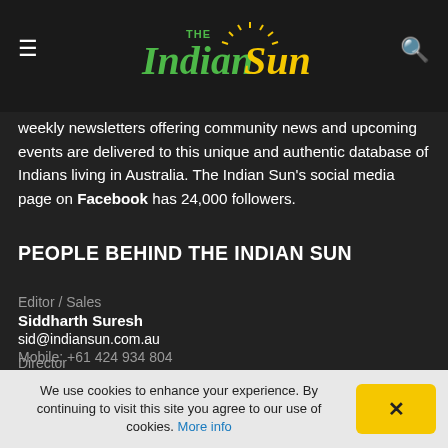The Indian Sun — site header with hamburger menu, logo, and search icon
weekly newsletters offering community news and upcoming events are delivered to this unique and authentic database of Indians living in Australia. The Indian Sun's social media page on Facebook has 24,000 followers.
PEOPLE BEHIND THE INDIAN SUN
Editor / Sales
Siddharth Suresh
sid@indiansun.com.au
Mobile: +61 424 934 804
Director
We use cookies to enhance your experience. By continuing to visit this site you agree to our use of cookies. More info